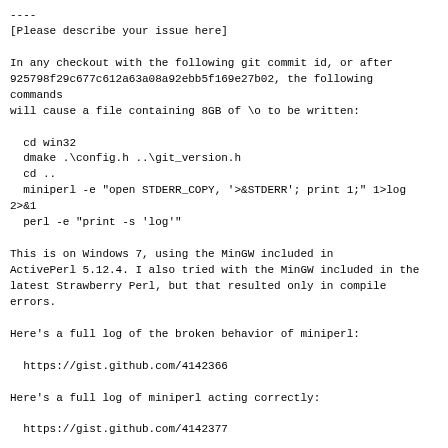----
[Please describe your issue here]
In any checkout with the following git commit id, or after
925798f29c677c612a63a08a92ebb5f169e27b02, the following commands
will cause a file containing 8GB of \o to be written:
cd win32
  dmake .\config.h ..\git_version.h
  cd ..
  miniperl -e "open STDERR_COPY, '>&STDERR'; print 1;" 1>log 2>&1
  perl -e "print -s 'log'"
This is on Windows 7, using the MinGW included in
ActivePerl 5.12.4. I also tried with the MinGW included in the
latest Strawberry Perl, but that resulted only in compile errors.
Here's a full log of the broken behavior of miniperl:
https://gist.github.com/4142366
Here's a full log of miniperl acting correctly:
https://gist.github.com/4142377
The commit in question includes this line in the commit message: